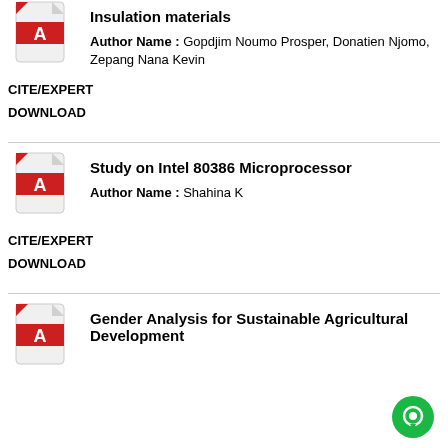[Figure (illustration): PDF document icon (red and white Acrobat-style icon)]
Insulation materials
Author Name : Gopdjim Noumo Prosper, Donatien Njomo, Zepang Nana Kevin
CITE/EXPERT
DOWNLOAD
[Figure (illustration): PDF document icon (red and white Acrobat-style icon)]
Study on Intel 80386 Microprocessor
Author Name : Shahina K
CITE/EXPERT
DOWNLOAD
[Figure (illustration): PDF document icon (red and white Acrobat-style icon)]
Gender Analysis for Sustainable Agricultural Development